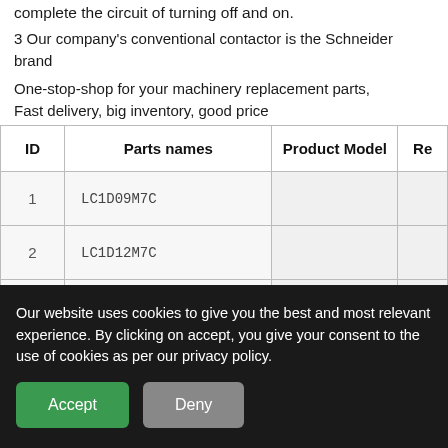complete the circuit of turning off and on.
3 Our company's conventional contactor is the Schneider brand
One-stop-shop for your machinery replacement parts,
Fast delivery, big inventory, good price
| ID | Parts names | Product Model | Re... |
| --- | --- | --- | --- |
| 1 | LC1D09M7C |  |  |
| 2 | LC1D12M7C |  |  |
| 3 | hint=CLN-116]LC1D95M7C |  |  |
| 5 | LC1D32... |  |  |
| 6 | ... |  |  |
Our website uses cookies to give you the best and most relevant experience. By clicking on accept, you give your consent to the use of cookies as per our privacy policy.